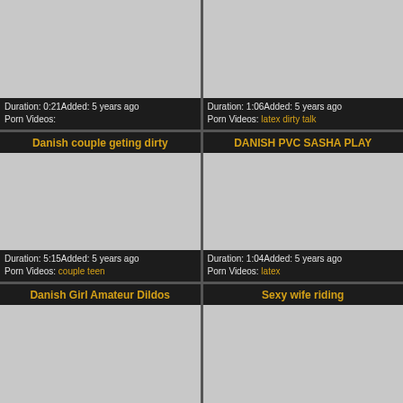[Figure (photo): Video thumbnail placeholder (gray rectangle), top-left card, partially cropped at top]
Duration: 0:21Added: 5 years ago
Porn Videos:
[Figure (photo): Video thumbnail placeholder (gray rectangle), top-right card, partially cropped at top]
Duration: 1:06Added: 5 years ago
Porn Videos: latex dirty talk
Danish couple geting dirty
[Figure (photo): Video thumbnail placeholder (gray rectangle), middle-left card]
Duration: 5:15Added: 5 years ago
Porn Videos: couple teen
DANISH PVC SASHA PLAY
[Figure (photo): Video thumbnail placeholder (gray rectangle), middle-right card]
Duration: 1:04Added: 5 years ago
Porn Videos: latex
Danish Girl Amateur Dildos
[Figure (photo): Video thumbnail placeholder (gray rectangle), bottom-left card, cropped]
Sexy wife riding
[Figure (photo): Video thumbnail placeholder (gray rectangle), bottom-right card, cropped]